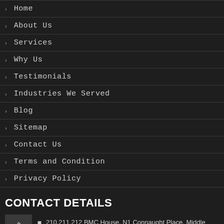Home
About Us
Services
Why Us
Testimonials
Industries We Served
Blog
Sitemap
Contact Us
Terms and Condition
Privacy Policy
CONTACT DETAILS
210,211,212 BMC House, N1 Connaught Place, Middle Circle, New Delhi 110001, India